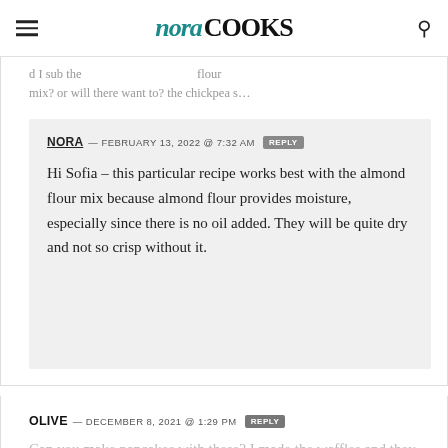nora COOKS
d I sub the … flour mix? or will there want to? the chickpea s…
NORA — FEBRUARY 13, 2022 @ 7:32 AM  REPLY
Hi Sofia – this particular recipe works best with the almond flour mix because almond flour provides moisture, especially since there is no oil added. They will be quite dry and not so crisp without it.
OLIVE — DECEMBER 8, 2021 @ 1:29 PM  REPLY
Can you make pancakes with these? I made the waffles and they were amazing, haven't had a